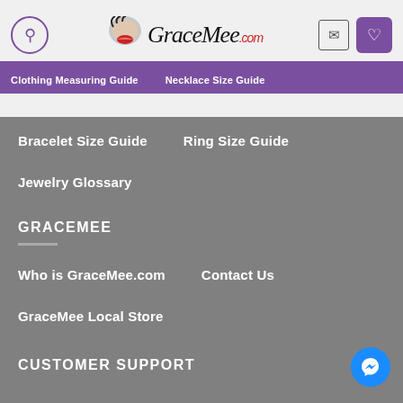GraceMee.com
Clothing Measuring Guide
Necklace Size Guide
Bracelet Size Guide
Ring Size Guide
Jewelry Glossary
GRACEMEE
Who is GraceMee.com
Contact Us
GraceMee Local Store
CUSTOMER SUPPORT